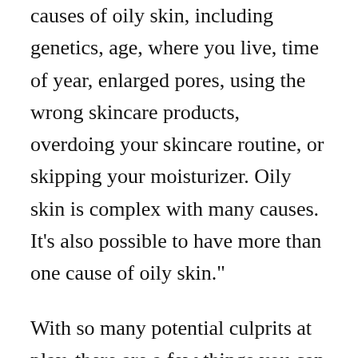causes of oily skin, including genetics, age, where you live, time of year, enlarged pores, using the wrong skincare products, overdoing your skincare routine, or skipping your moisturizer. Oily skin is complex with many causes. It’s also possible to have more than one cause of oily skin.”
With so many potential culprits at play, there are a few things you can do from a diet perspective to quell excess oil production. According to NYC-based nutrition expert and registered dietitian Brooke Alpert, the best thing any person can do—regardless of whether or not